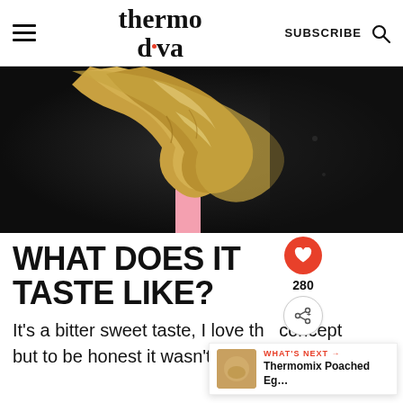thermo diva | SUBSCRIBE
[Figure (photo): Close-up photo of a pink spoon being dipped into golden/caramel colored liquid or spread against a dark background]
WHAT DOES IT TASTE LIKE?
It's a bitter sweet taste, I love the concept but to be honest it wasn't for me.